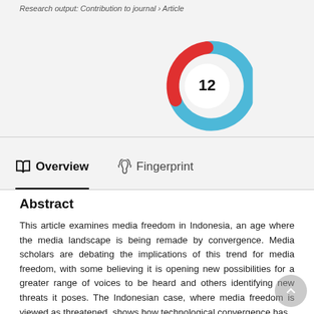Research output: Contribution to journal › Article
[Figure (other): Altmetric donut badge showing score of 12, with blue and red swirl design around a white circle containing the number 12]
Overview
Fingerprint
Abstract
This article examines media freedom in Indonesia, an age where the media landscape is being remade by convergence. Media scholars are debating the implications of this trend for media freedom, with some believing it is opening new possibilities for a greater range of voices to be heard and others identifying new threats it poses. The Indonesian case, where media freedom is viewed as threatened, shows how technological convergence has